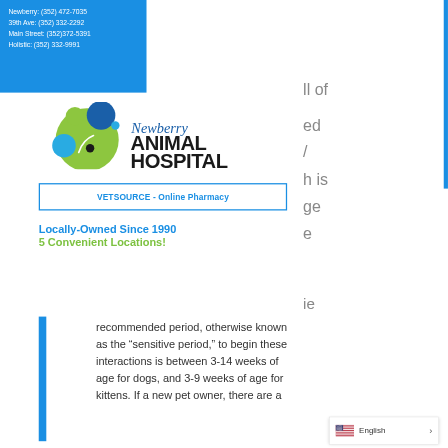Newberry: (352) 472-7035
39th Ave: (352) 332-2292
Main Street: (352)372-5391
Holistic: (352) 332-9991
[Figure (logo): Newberry Animal Hospital logo with colorful animal figures and script/bold text]
VETSOURCE - Online Pharmacy
Locally-Owned Since 1990
5 Convenient Locations!
recommended period, otherwise known as the “sensitive period,” to begin these interactions is between 3-14 weeks of age for dogs, and 3-9 weeks of age for kittens. If a new pet owner, there are a
English